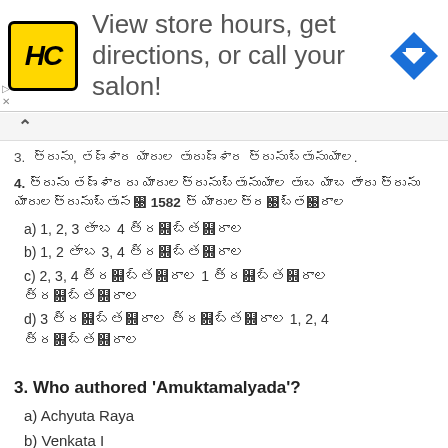[Figure (illustration): Advertisement banner: HC logo (yellow square with black HC letters), text 'View store hours, get directions, or call your salon!', blue diamond direction arrow icon]
3. [Telugu text] [Telugu text] [Telugu text] [Telugu text] [Telugu text].
4. [Telugu text question about 1582]
a) 1, 2, 3 [Telugu] 4 [Telugu]
b) 1, 2 [Telugu] 3, 4 [Telugu]
c) 2, 3, 4 [Telugu] 1 [Telugu] [Telugu]
d) 3 [Telugu] [Telugu] 1, 2, 4 [Telugu]
3. Who authored 'Amuktamalyada'?
a) Achyuta Raya
b) Venkata I
c) Krishnadeva Raya